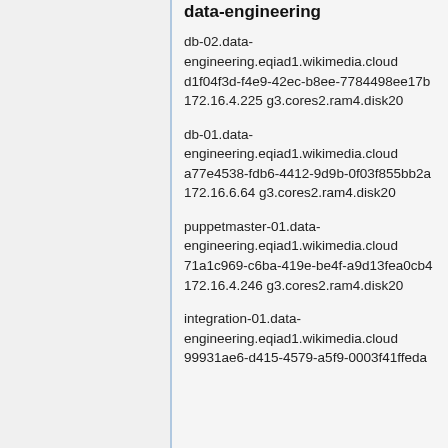data-engineering
db-02.data-engineering.eqiad1.wikimedia.cloud d1f04f3d-f4e9-42ec-b8ee-7784498ee17b 172.16.4.225 g3.cores2.ram4.disk20
db-01.data-engineering.eqiad1.wikimedia.cloud a77e4538-fdb6-4412-9d9b-0f03f855bb2a 172.16.6.64 g3.cores2.ram4.disk20
puppetmaster-01.data-engineering.eqiad1.wikimedia.cloud 71a1c969-c6ba-419e-be4f-a9d13fea0cb4 172.16.4.246 g3.cores2.ram4.disk20
integration-01.data-engineering.eqiad1.wikimedia.cloud 99931ae6-d415-4579-a5f9-0003f41ffeda